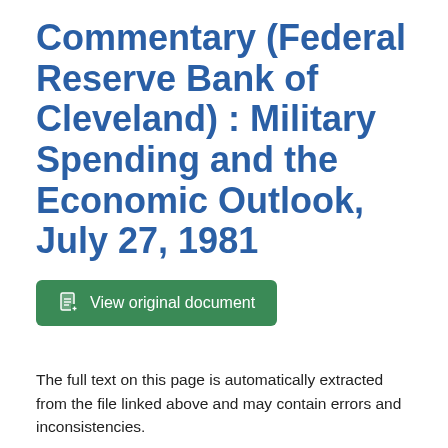Commentary (Federal Reserve Bank of Cleveland) : Military Spending and the Economic Outlook, July 27, 1981
View original document
The full text on this page is automatically extracted from the file linked above and may contain errors and inconsistencies.
Federal
on financing the military buildup. This argument